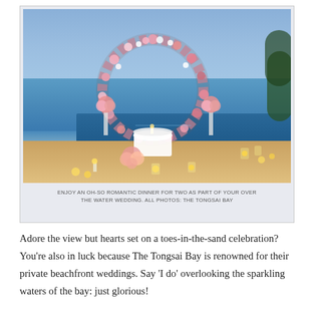[Figure (photo): A romantic outdoor wedding setup at dusk with a large circular floral arch adorned with pink and white flowers, a white-draped table for two, flower arrangements on pedestals, candles, and lanterns on a terrace overlooking a blue infinity pool and the sea.]
ENJOY AN OH-SO ROMANTIC DINNER FOR TWO AS PART OF YOUR OVER THE WATER WEDDING. ALL PHOTOS: THE TONGSAI BAY
Adore the view but hearts set on a toes-in-the-sand celebration? You're also in luck because The Tongsai Bay is renowned for their private beachfront weddings. Say 'I do' overlooking the sparkling waters of the bay: just glorious!